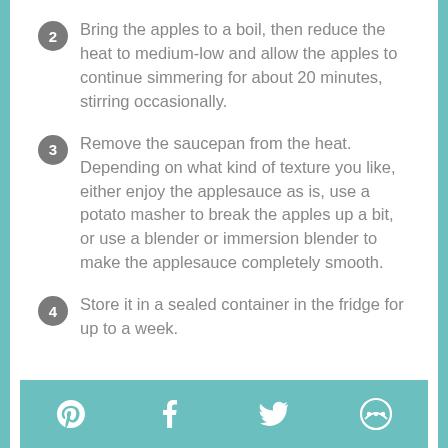2 Bring the apples to a boil, then reduce the heat to medium-low and allow the apples to continue simmering for about 20 minutes, stirring occasionally.
3 Remove the saucepan from the heat. Depending on what kind of texture you like, either enjoy the applesauce as is, use a potato masher to break the apples up a bit, or use a blender or immersion blender to make the applesauce completely smooth.
4 Store it in a sealed container in the fridge for up to a week.
Social share icons: Pinterest, Facebook, Twitter, other